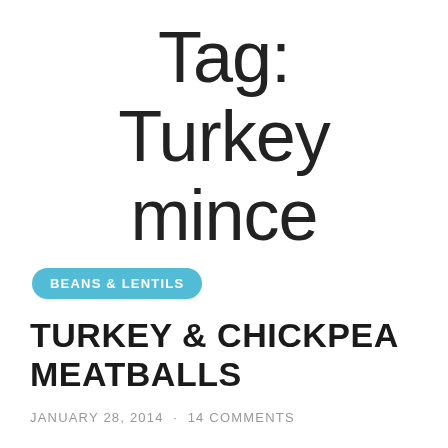Tag: Turkey mince
BEANS & LENTILS
TURKEY & CHICKPEA MEATBALLS
JANUARY 28, 2014  ·  14 COMMENTS